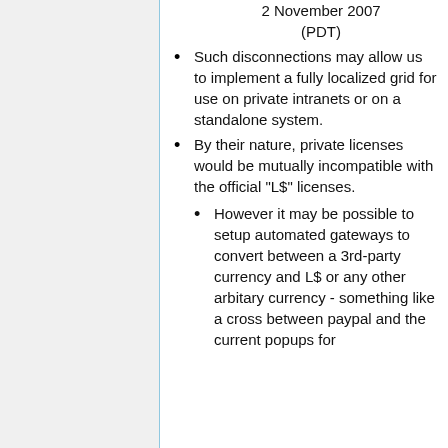2 November 2007 (PDT)
Such disconnections may allow us to implement a fully localized grid for use on private intranets or on a standalone system.
By their nature, private licenses would be mutually incompatible with the official "L$" licenses.
However it may be possible to setup automated gateways to convert between a 3rd-party currency and L$ or any other arbitary currency - something like a cross between paypal and the current popups for